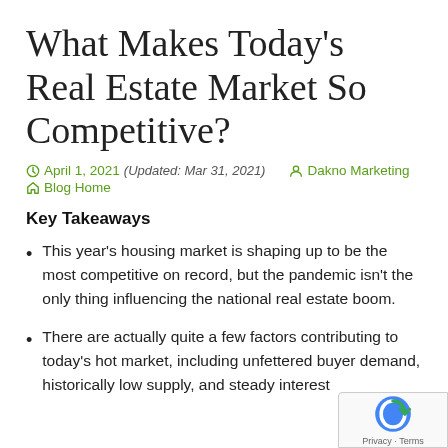What Makes Today's Real Estate Market So Competitive?
April 1, 2021 (Updated: Mar 31, 2021)  Dakno Marketing  Blog Home
Key Takeaways
This year's housing market is shaping up to be the most competitive on record, but the pandemic isn't the only thing influencing the national real estate boom.
There are actually quite a few factors contributing to today's hot market, including unfettered buyer demand, historically low supply, and steady interest